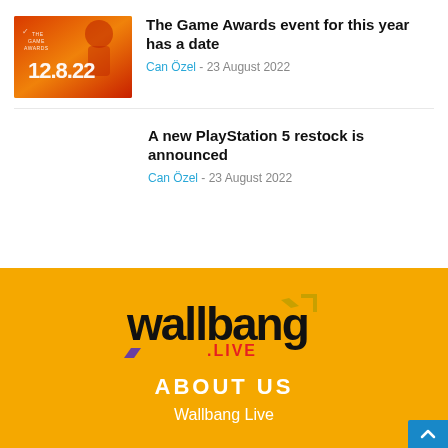[Figure (photo): The Game Awards promotional image showing '12.8.22' date in white stylized text on red/orange gradient background with silhouette figure]
The Game Awards event for this year has a date
Can Özel - 23 August 2022
A new PlayStation 5 restock is announced
Can Özel - 23 August 2022
[Figure (logo): wallbang.LIVE logo in black bold font with red .LIVE text and purple/gold arrow chevron, on yellow/orange background]
ABOUT US
Wallbang Live